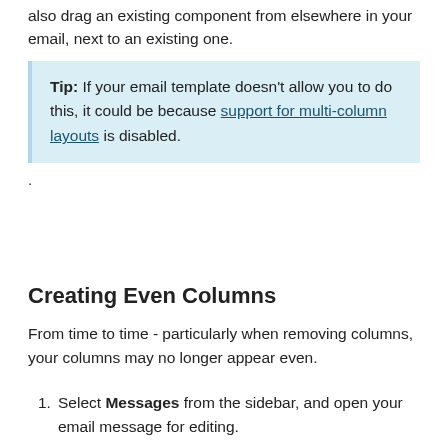also drag an existing component from elsewhere in your email, next to an existing one.
Tip: If your email template doesn't allow you to do this, it could be because support for multi-column layouts is disabled.
.
Creating Even Columns
From time to time - particularly when removing columns, your columns may no longer appear even.
Select Messages from the sidebar, and open your email message for editing.